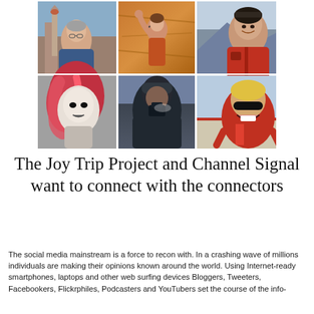[Figure (photo): A collage of six photographs showing different people: an older man in front of a European cityscape with a cathedral tower, a rock climber on an orange rock face, a smiling woman in a red North Face jacket, a woman with vivid red hair (black and white tones), a person in dark winter clothing photographed from behind, and a cyclist in a red jersey with sunglasses.]
The Joy Trip Project and Channel Signal want to connect with the connectors
The social media mainstream is a force to recon with. In a crashing wave of millions individuals are making their opinions known around the world.  Using Internet-ready smartphones, laptops and other web surfing devices Bloggers, Tweeters, Facebookers, Flickrphiles, Podcasters and YouTubers set the course of the info-